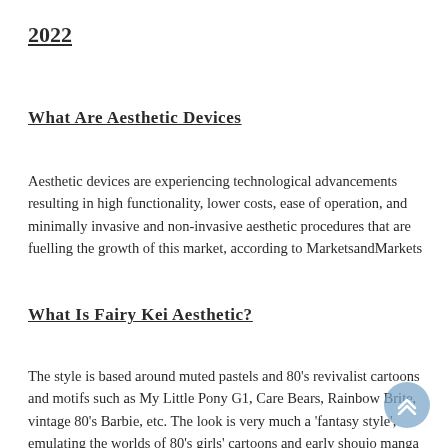2022
What Are Aesthetic Devices
Aesthetic devices are experiencing technological advancements resulting in high functionality, lower costs, ease of operation, and minimally invasive and non-invasive aesthetic procedures that are fuelling the growth of this market, according to MarketsandMarkets
What Is Fairy Kei Aesthetic?
The style is based around muted pastels and 80's revivalist cartoons and motifs such as My Little Pony G1, Care Bears, Rainbow Brite, vintage 80's Barbie, etc. The look is very much a 'fantasy style', emulating the worlds of 80's girls' cartoons and early shoujo manga